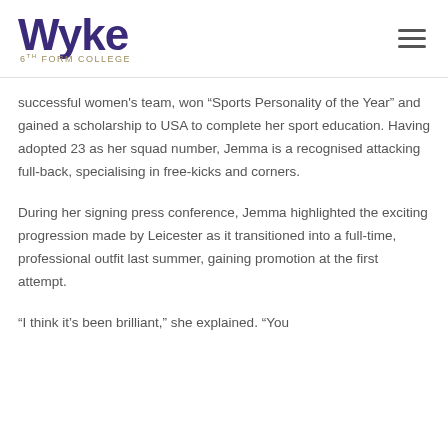Wyke 6th Form College
successful women's team, won “Sports Personality of the Year” and gained a scholarship to USA to complete her sport education. Having adopted 23 as her squad number, Jemma is a recognised attacking full-back, specialising in free-kicks and corners.
During her signing press conference, Jemma highlighted the exciting progression made by Leicester as it transitioned into a full-time, professional outfit last summer, gaining promotion at the first attempt.
“I think it’s been brilliant,” she explained. “You